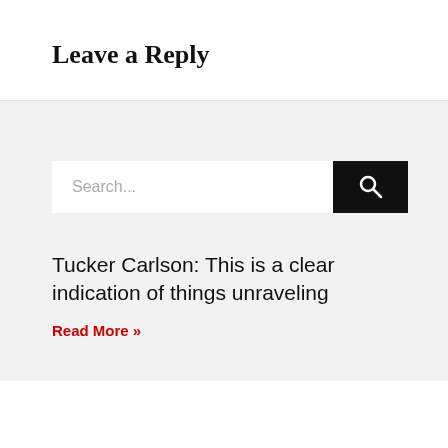Leave a Reply
[Figure (screenshot): Search bar with text input showing 'Search...' placeholder and a black search button with magnifying glass icon]
Tucker Carlson: This is a clear indication of things unraveling
Read More »